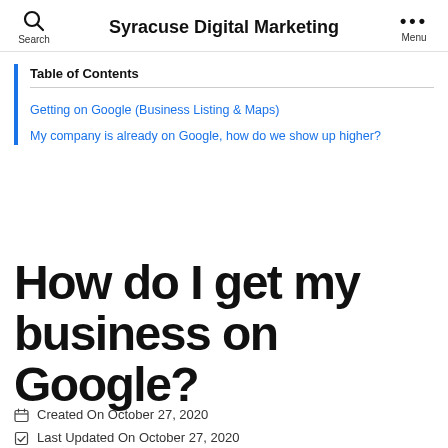Syracuse Digital Marketing
Table of Contents
Getting on Google (Business Listing & Maps)
My company is already on Google, how do we show up higher?
How do I get my business on Google?
Created On October 27, 2020
Last Updated On October 27, 2020